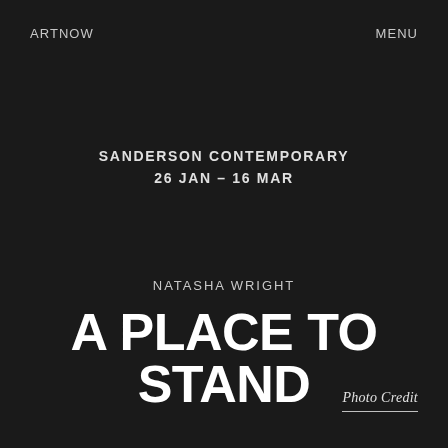ARTNOW
MENU
SANDERSON CONTEMPORARY
26 JAN – 16 MAR
NATASHA WRIGHT
A PLACE TO STAND
Photo Credit